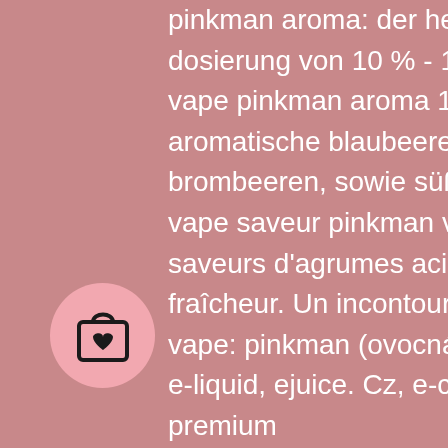pinkman aroma: der hersteller vampire vape empfiehlt eine dosierung von 10 % - 15 % für ein perfektes liquid! Vampire vape pinkman aroma 14ml. Pinkman - hier verschmelzen aromatische blaubeeren, sonnengereifte und süße brombeeren, sowie süß-säuerliche. Ce e-liquide vampire vape saveur pinkman vous apportera de savoureuses saveurs d'agrumes acidulées enrobées d'un nuage de fraîcheur. Un incontournable pour les. Příchu' vampire vape: pinkman (ovocná směs) 30ml,elektronická cigareta, e-liquid, ejuice. Cz, e-cigareta, joyetech, liqua, dekang, premium

Card game casinos offer various versions of rummy, and you can play it with one to five other players. Whilst rummy is a game of skill, It's fairly easy to get to grips with, making it great fun for everyone. Teen paci is a traditional Indian card game, where the aim is to win the pot by either ending up the best hand possible or by getting your
[Figure (other): Shopping bag icon with a heart, inside a pink circle]
[Figure (other): Three dots (ellipsis) inside a white circle]